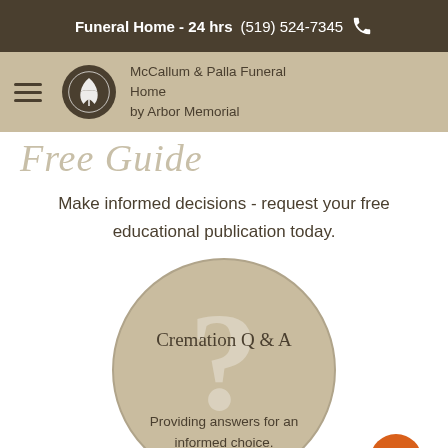Funeral Home - 24 hrs (519) 524-7345
McCallum & Palla Funeral Home by Arbor Memorial
Free Guide
Make informed decisions - request your free educational publication today.
[Figure (illustration): Circular badge with 'Cremation Q & A' title and a large question mark watermark, with subtitle 'Providing answers for an informed choice.']